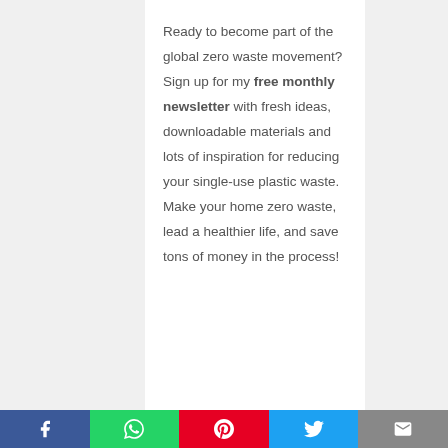Ready to become part of the global zero waste movement? Sign up for my free monthly newsletter with fresh ideas, downloadable materials and lots of inspiration for reducing your single-use plastic waste. Make your home zero waste, lead a healthier life, and save tons of money in the process!